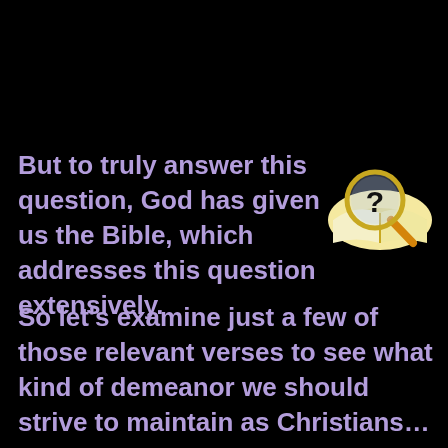But to truly answer this question, God has given us the Bible, which addresses this question extensively.
[Figure (illustration): A magnifying glass with a question mark overlaid on an open book, drawn in a cartoon/clip-art style with gold and orange colors.]
So let’s examine just a few of those relevant verses to see what kind of demeanor we should strive to maintain as Christians…